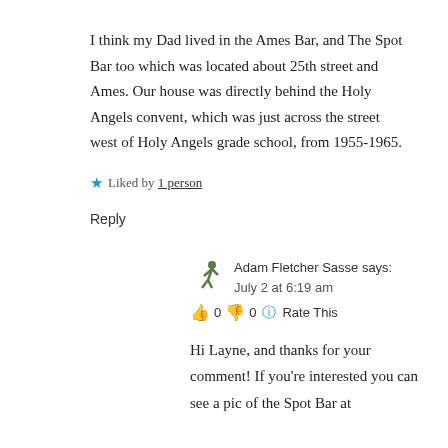I think my Dad lived in the Ames Bar, and The Spot Bar too which was located about 25th street and Ames. Our house was directly behind the Holy Angels convent, which was just across the street west of Holy Angels grade school, from 1955-1965.
★ Liked by 1 person
Reply
Adam Fletcher Sasse says:
July 2 at 6:19 am
👍 0 👎 0 ℹ Rate This
Hi Layne, and thanks for your comment! If you're interested you can see a pic of the Spot Bar at